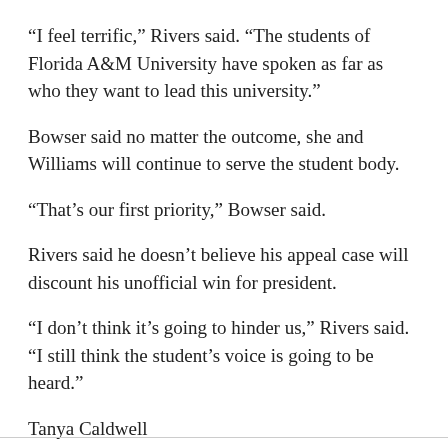“I feel terrific,” Rivers said. “The students of Florida A&M University have spoken as far as who they want to lead this university.”
Bowser said no matter the outcome, she and Williams will continue to serve the student body.
“That’s our first priority,” Bowser said.
Rivers said he doesn’t believe his appeal case will discount his unofficial win for president.
“I don’t think it’s going to hinder us,” Rivers said. “I still think the student’s voice is going to be heard.”
Tanya Caldwell